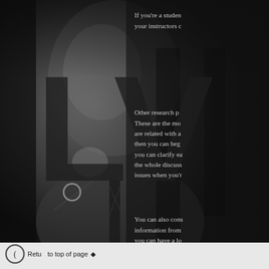[Figure (photo): Black and white photograph of a young Black man in a suit and tie, hand raised to chin in a thoughtful pose, with large dark watermark letters overlaid. The right portion of the image has a dark semi-transparent overlay with white text.]
If you're a studen your instructors c
Other research p These are the mo are related with a then you can beg you can clarify ea the whole discuss issues when you'r
You can also cons information from you can have a lo you could apply c assist you with th
Return to top of page